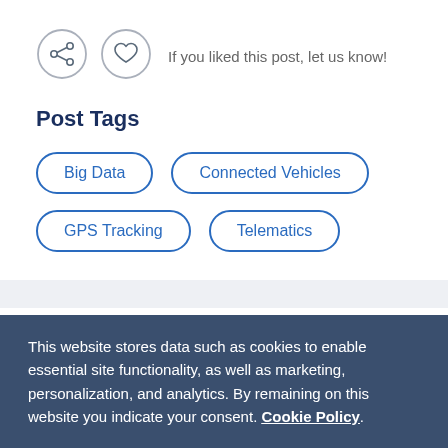[Figure (illustration): Two circular icon buttons: a share icon and a heart/like icon, both outlined in gray]
If you liked this post, let us know!
Post Tags
Big Data
Connected Vehicles
GPS Tracking
Telematics
This website stores data such as cookies to enable essential site functionality, as well as marketing, personalization, and analytics. By remaining on this website you indicate your consent. Cookie Policy.